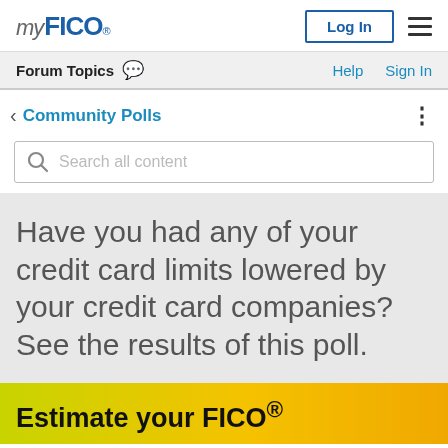[Figure (logo): myFICO logo in top-left corner]
Log In  ≡  Forum Topics  Help  Sign In
< Community Polls
Search all content
Have you had any of your credit card limits lowered by your credit card companies? See the results of this poll.
Estimate your FICO®